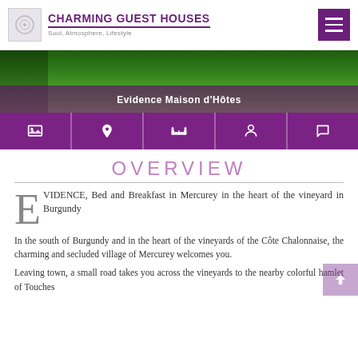CHARMING GUEST HOUSES — Soul, Atmosphere, Lifestyle
[Figure (photo): Hero image of green vineyard/garden with purple overlay banner reading 'Evidence Maison d'Hôtes']
Evidence Maison d'Hôtes
[Figure (infographic): Navigation icon bar with 5 purple icons: gallery, location pin, bed, person, chat bubble]
OVERVIEW
EVIDENCE, Bed and Breakfast in Mercurey in the heart of the vineyard in Burgundy
In the south of Burgundy and in the heart of the vineyards of the Côte Chalonnaise, the charming and secluded village of Mercurey welcomes you.
Leaving town, a small road takes you across the vineyards to the nearby colorful hamlet of Touches where Evidence Maison d'Hôtes awaits you.